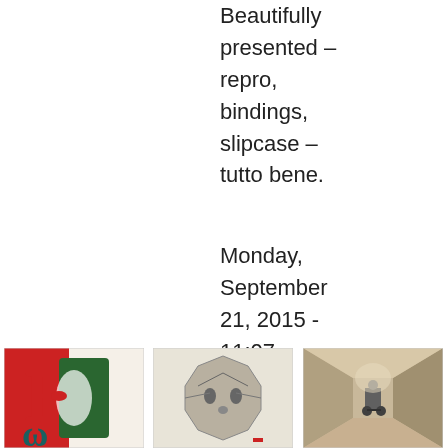Beautifully presented – repro, bindings, slipcase – tutto bene.
Monday, September 21, 2015 - 11:07
[Figure (illustration): Illustrated page with red and green decorative numbers/letters]
Illustrations, Scraps
[Figure (illustration): Geometric polygonal portrait of a face]
Illustrations, Scraps
[Figure (photo): Person with a cart in a corridor]
Illustrations, Scraps, Snaps